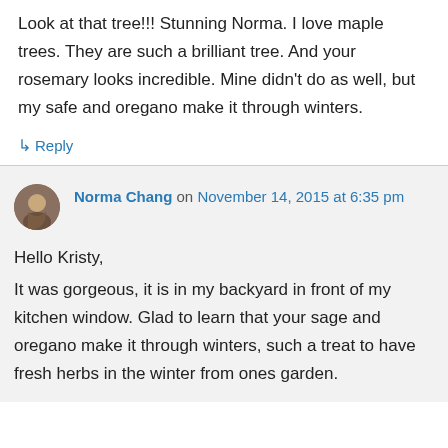Look at that tree!!! Stunning Norma. I love maple trees. They are such a brilliant tree. And your rosemary looks incredible. Mine didn't do as well, but my safe and oregano make it through winters.
↳ Reply
Norma Chang on November 14, 2015 at 6:35 pm
Hello Kristy, It was gorgeous, it is in my backyard in front of my kitchen window. Glad to learn that your sage and oregano make it through winters, such a treat to have fresh herbs in the winter from ones garden.